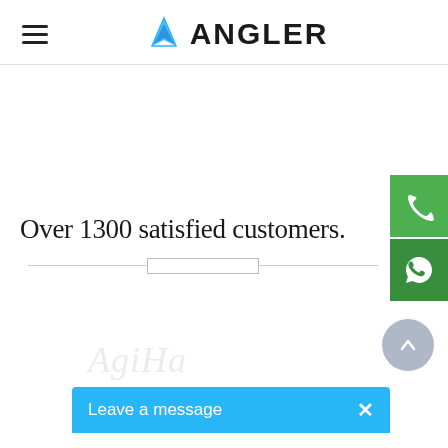ANGLER
Over 1300 satisfied customers.
[Figure (screenshot): Green phone icon floating button on the right side]
[Figure (screenshot): Green WhatsApp icon floating button on the right side]
[Figure (screenshot): Grey circular scroll-to-top button with upward chevron]
Leave a message  ×